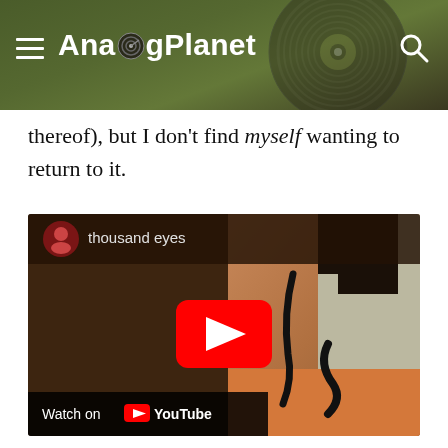AnalogPlanet
thereof), but I don't find myself wanting to return to it.
[Figure (screenshot): YouTube video embed showing 'thousand eyes' with a thumbnail of a person with artistic body paint and black snake imagery, orange clothing, with a red YouTube play button overlay and Watch on YouTube footer bar.]